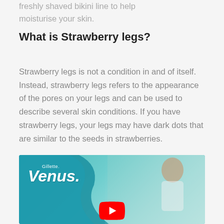freshly shaved bikini line to help moisturise your skin.
What is Strawberry legs?
Strawberry legs is not a condition in and of itself. Instead, strawberry legs refers to the appearance of the pores on your legs and can be used to describe several skin conditions. If you have strawberry legs, your legs may have dark dots that are similar to the seeds in strawberries.
[Figure (screenshot): Gillette Venus branded video thumbnail showing the Venus logo on a teal/blue wave background with a woman in the right portion of the image and a YouTube play button overlay at the bottom center.]